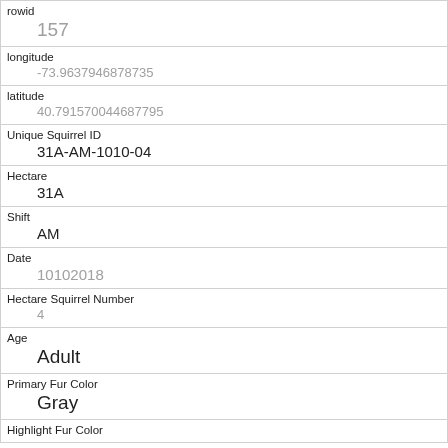| Field | Value |
| --- | --- |
| rowid | 157 |
| longitude | -73.9637946878735 |
| latitude | 40.791570044687795 |
| Unique Squirrel ID | 31A-AM-1010-04 |
| Hectare | 31A |
| Shift | AM |
| Date | 10102018 |
| Hectare Squirrel Number | 4 |
| Age | Adult |
| Primary Fur Color | Gray |
| Highlight Fur Color |  |